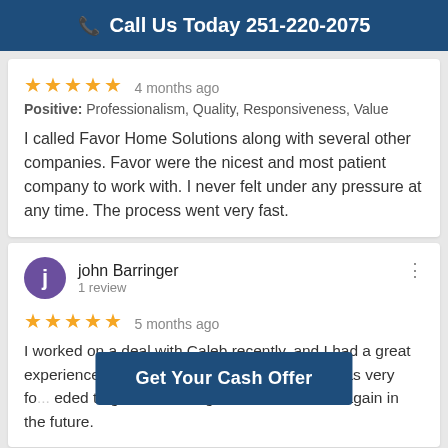Call Us Today 251-220-2075
★★★★★  4 months ago
Positive: Professionalism, Quality, Responsiveness, Value

I called Favor Home Solutions along with several other companies. Favor were the nicest and most patient company to work with. I never felt under any pressure at any time. The process went very fast.
john Barringer
1 review
★★★★★  5 months ago
I worked on a deal with Caleb recently, and I had a great experience. He was very responsive, and he was very fo... eded to get the dea... g business with him again in the future.
Get Your Cash Offer